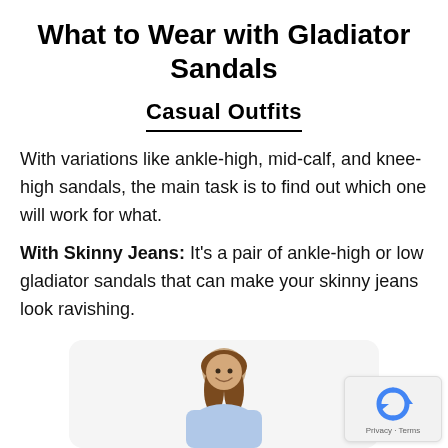What to Wear with Gladiator Sandals
Casual Outfits
With variations like ankle-high, mid-calf, and knee-high sandals, the main task is to find out which one will work for what.
With Skinny Jeans: It's a pair of ankle-high or low gladiator sandals that can make your skinny jeans look ravishing.
[Figure (photo): A young woman with long brown hair smiling, shown from the waist up, inside a rounded-corner white card.]